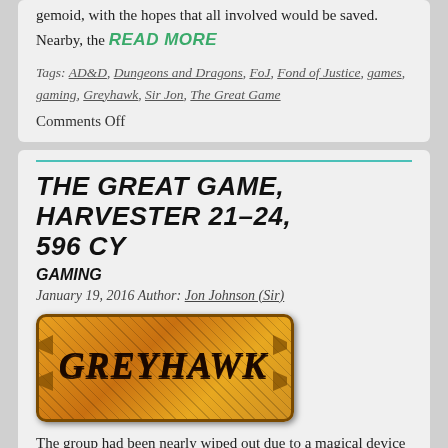gemoid, with the hopes that all involved would be saved. Nearby, the READ MORE
Tags: AD&D, Dungeons and Dragons, FoJ, Fond of Justice, games, gaming, Greyhawk, Sir Jon, The Great Game
Comments Off
THE GREAT GAME, HARVESTER 21-24, 596 CY
GAMING
January 19, 2016 Author: Jon Johnson (Sir)
[Figure (logo): Greyhawk logo — orange/gold banner with dark border and the word GREYHAWK in bold italic lettering]
The group had been nearly wiped out due to a magical device in a tower of the Baron Zaro. After the loss of one more member, Morton took action to return the survivors home and bring the others back to the land of